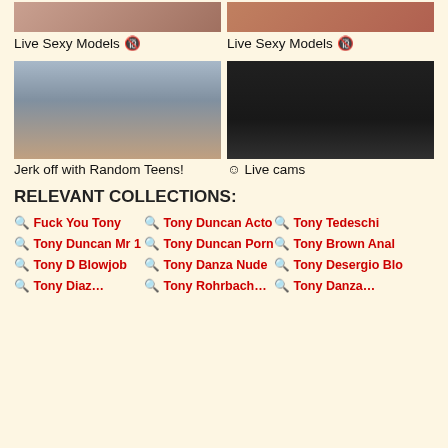[Figure (photo): Top-left thumbnail: partial photo]
[Figure (photo): Top-right thumbnail: partial photo]
Live Sexy Models 🔞
Live Sexy Models 🔞
[Figure (photo): Middle-left thumbnail: young woman in grey bra]
[Figure (photo): Middle-right thumbnail: woman in black top]
Jerk off with Random Teens!
☺ Live cams
RELEVANT COLLECTIONS:
🔍 Fuck You Tony
🔍 Tony Duncan Acto
🔍 Tony Tedeschi
🔍 Tony Duncan Mr 1
🔍 Tony Duncan Porn
🔍 Tony Brown Anal
🔍 Tony D Blowjob
🔍 Tony Danza Nude
🔍 Tony Desergio Blo
🔍 Tony Diaz...
🔍 Tony Rohrbach...
🔍 Tony Danza...